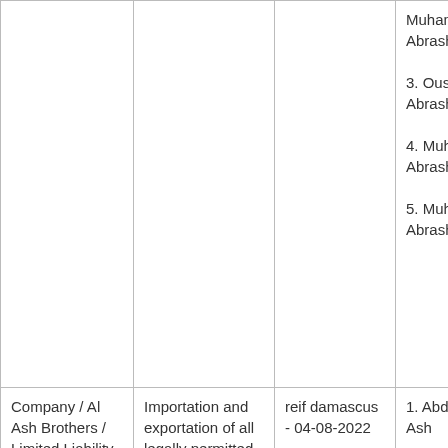|  |  |  | Muhammad Al Abrash

3. Oussama Al Abrash

4. Muhammad Al Abrash

5. Muhammad Al Abrash |
| Company / Al Ash Brothers / Limited Liability | Importation and exportation of all legally permitted materials. | reif damascus - 04-08-2022 | 1. Abdul Qadir Al Ash

2. Yassine Al Ash |